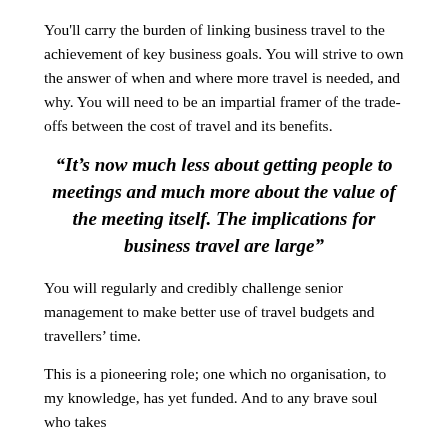You'll carry the burden of linking business travel to the achievement of key business goals. You will strive to own the answer of when and where more travel is needed, and why. You will need to be an impartial framer of the trade-offs between the cost of travel and its benefits.
“It’s now much less about getting people to meetings and much more about the value of the meeting itself. The implications for business travel are large”
You will regularly and credibly challenge senior management to make better use of travel budgets and travellers’ time.
This is a pioneering role; one which no organisation, to my knowledge, has yet funded. And to any brave soul who takes